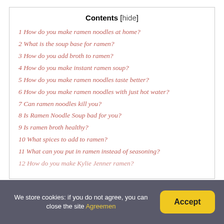Contents [hide]
1 How do you make ramen noodles at home?
2 What is the soup base for ramen?
3 How do you add broth to ramen?
4 How do you make instant ramen soup?
5 How do you make ramen noodles taste better?
6 How do you make ramen noodles with just hot water?
7 Can ramen noodles kill you?
8 Is Ramen Noodle Soup bad for you?
9 Is ramen broth healthy?
10 What spices to add to ramen?
11 What can you put in ramen instead of seasoning?
12 How do you make Kylie Jenner ramen?
We store cookies: if you do not agree, you can close the site Agreemen